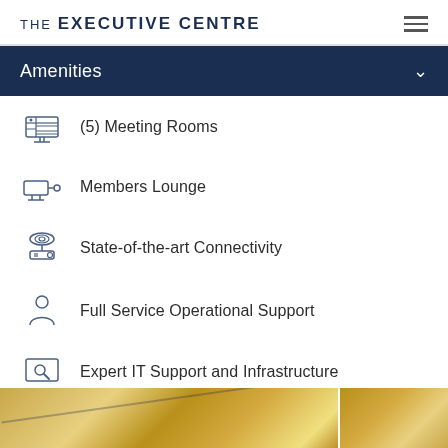THE EXECUTIVE CENTRE
Amenities
(5) Meeting Rooms
Members Lounge
State-of-the-art Connectivity
Full Service Operational Support
Expert IT Support and Infrastructure
Show More >
[Figure (photo): Two decorative photos at the bottom: golden/glittery interior design detail on the left, similar gold-toned interior on the right]